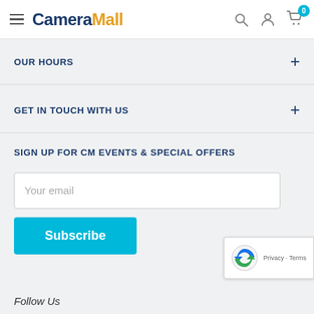CameraMall
OUR HOURS
GET IN TOUCH WITH US
SIGN UP FOR CM EVENTS & SPECIAL OFFERS
Your email
Subscribe
Follow Us